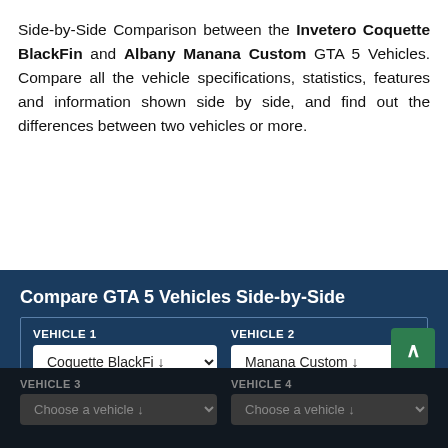Side-by-Side Comparison between the Invetero Coquette BlackFin and Albany Manana Custom GTA 5 Vehicles. Compare all the vehicle specifications, statistics, features and information shown side by side, and find out the differences between two vehicles or more.
Compare GTA 5 Vehicles Side-by-Side
VEHICLE 1: Coquette BlackFi [dropdown], VEHICLE 2: Manana Custom [dropdown], VEHICLE 3: Choose a vehicle [dropdown], VEHICLE 4: Choose a vehicle [dropdown]